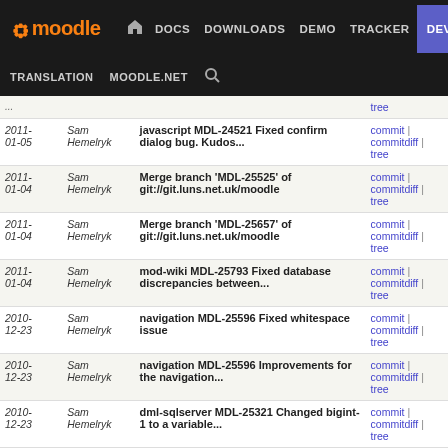Moodle navigation bar: DOCS | DOWNLOADS | DEMO | TRACKER | DEV | TRANSLATION | MOODLE.NET | Search
| Date | Author | Commit message | Links |
| --- | --- | --- | --- |
| 2011-01-05 | Sam Hemelryk | javascript MDL-24521 Fixed confirm dialog bug. Kudos... | commit | commitdiff | tree |
| 2011-01-04 | Sam Hemelryk | Merge branch 'MDL-25525' of git://git.luns.net.uk/moodle | commit | commitdiff | tree |
| 2011-01-04 | Sam Hemelryk | Merge branch 'MDL-25657' of git://git.luns.net.uk/moodle | commit | commitdiff | tree |
| 2011-01-04 | Sam Hemelryk | mod-wiki MDL-25793 Fixed database discrepancies between... | commit | commitdiff | tree |
| 2010-12-23 | Sam Hemelryk | navigation MDL-25596 Fixed whitespace issue | commit | commitdiff | tree |
| 2010-12-23 | Sam Hemelryk | navigation MDL-25596 Improvements for the navigation... | commit | commitdiff | tree |
| 2010-12-23 | Sam Hemelryk | dml-sqlserver MDL-25321 Changed bigint-1 to a variable... | commit | commitdiff | tree |
| 2010-12-23 | Sam Hemelryk | dml-sqlserver MDL-25321 Fixed limit_to_top_n function... | commit | commitdiff | tree |
| 2010-12-20 | Sam Hemelryk | NOBUG: Testing the setup of the integration server | commit | commitdiff | tree |
| 2010-12-20 | Dongsheng Cai | MDL-23930 fixed javascript insert into tinymce... | commit | commitdiff |